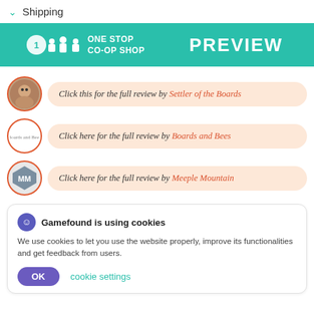Shipping
[Figure (screenshot): One Stop Co-op Shop PREVIEW banner with teal background, white meeple icons and white text]
Click this for the full review by Settler of the Boards
Click here for the full review by Boards and Bees
Click here for the full review by Meeple Mountain
Gamefound is using cookies
We use cookies to let you use the website properly, improve its functionalities and get feedback from users.